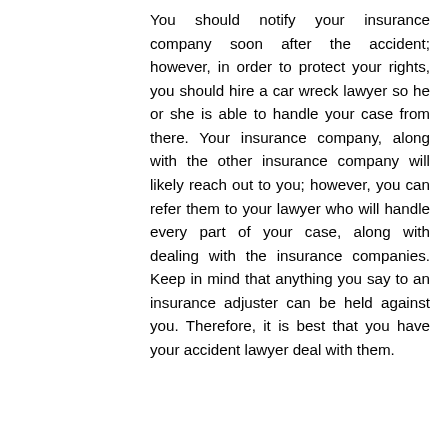You should notify your insurance company soon after the accident; however, in order to protect your rights, you should hire a car wreck lawyer so he or she is able to handle your case from there. Your insurance company, along with the other insurance company will likely reach out to you; however, you can refer them to your lawyer who will handle every part of your case, along with dealing with the insurance companies. Keep in mind that anything you say to an insurance adjuster can be held against you. Therefore, it is best that you have your accident lawyer deal with them.